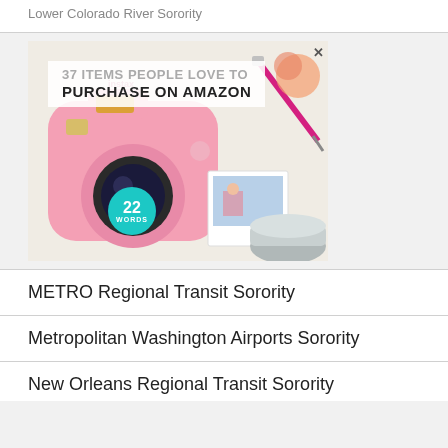Lower Colorado River Sorority
[Figure (photo): Advertisement showing a pink Fujifilm Instax Mini camera with text '37 Items People Love to Purchase on Amazon' and a teal badge showing '22 Words']
METRO Regional Transit Sorority
Metropolitan Washington Airports Sorority
New Orleans Regional Transit Sorority